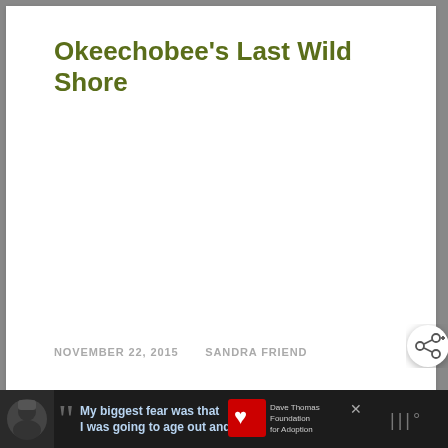Okeechobee's Last Wild Shore
NOVEMBER 22, 2015   SANDRA FRIEND
[Figure (screenshot): Share button icon (circular white button with share/network icon) on right side of page]
[Figure (photo): Advertisement banner at bottom: dark background with person wearing knit hat, quote mark, text 'My biggest fear was that I was going to age out and', Dave Thomas Foundation for Adoption logo with red heart icon]